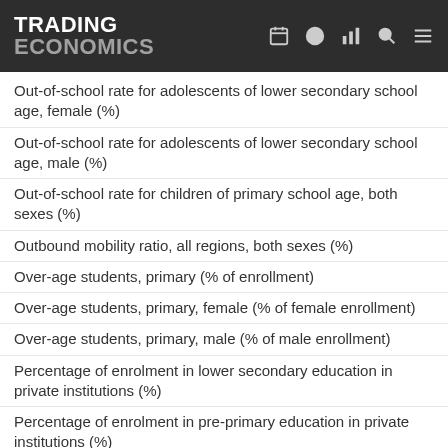TRADING ECONOMICS
Out-of-school rate for adolescents of lower secondary school age, female (%)
Out-of-school rate for adolescents of lower secondary school age, male (%)
Out-of-school rate for children of primary school age, both sexes (%)
Outbound mobility ratio, all regions, both sexes (%)
Over-age students, primary (% of enrollment)
Over-age students, primary, female (% of female enrollment)
Over-age students, primary, male (% of male enrollment)
Percentage of enrolment in lower secondary education in private institutions (%)
Percentage of enrolment in pre-primary education in private institutions (%)
Percentage of enrolment in upper secondary education in private institutions (%)
Percentage of graduates from tertiary education graduating from Agriculture, Forestry, Fisheries and Veterinary programmes, both sexes (%)